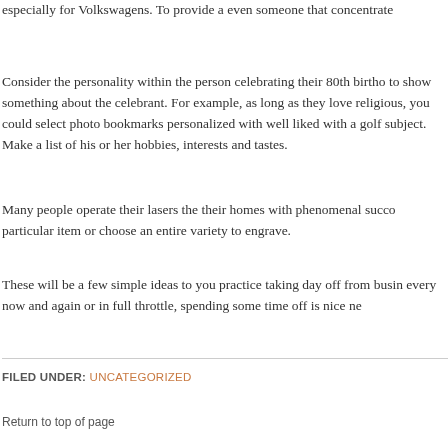especially for Volkswagens. To provide a even someone that concentrate
Consider the personality within the person celebrating their 80th birthd to show something about the celebrant. For example, as long as they love religious, you could select photo bookmarks personalized with well liked with a golf subject. Make a list of his or her hobbies, interests and tastes.
Many people operate their lasers the their homes with phenomenal succ particular item or choose an entire variety to engrave.
These will be a few simple ideas to you practice taking day off from busi every now and again or in full throttle, spending some time off is nice n
FILED UNDER: UNCATEGORIZED
Return to top of page